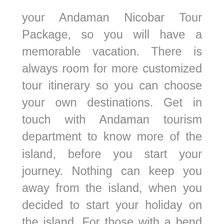your Andaman Nicobar Tour Package, so you will have a memorable vacation. There is always room for more customized tour itinerary so you can choose your own destinations. Get in touch with Andaman tourism department to know more of the island, before you start your journey. Nothing can keep you away from the island, when you decided to start your holiday on the island. For those with a bend of mind against the historical significance of the Andaman can choose a visit to the cellular jail Viper Island. It is sure to change your idea of the whole history of India. These moments at the place where thousands gave their lives to win freedom in India, will make you a patriotic for your lifetime. Do Andaman Nicobar tourism package of yours a once in a lifetime experience, or for those who plan to visit again check out the hot spots now and go for the lesser known ones next